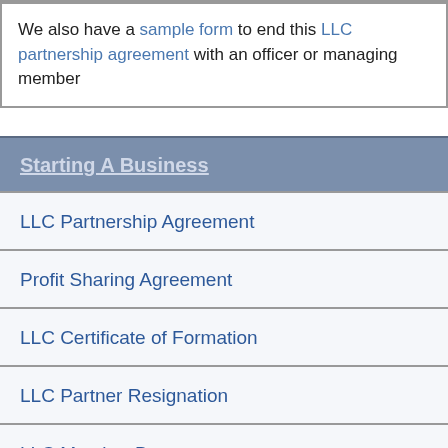We also have a sample form to end this LLC partnership agreement with an officer or managing member
Starting A Business
LLC Partnership Agreement
Profit Sharing Agreement
LLC Certificate of Formation
LLC Partner Resignation
LLC Member Buyout